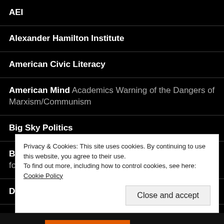AEI
Alexander Hamilton Institute
American Civic Literacy
American Mind Academics Warning of the Dangers of Marxism/Communism
Big Sky Politics
Bill of Rights Institute Educational resources on our founding documents
Dr. Thomas Sowell
Every Student Web Site for Christian Students
Privacy & Cookies: This site uses cookies. By continuing to use this website, you agree to their use.
To find out more, including how to control cookies, see here: Cookie Policy
Close and accept